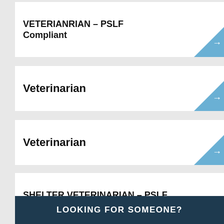VETERIANRIAN – PSLF Compliant
Veterinarian
Veterinarian
SHELTER VETERINARIAN – PSLF Compliant
LOOKING FOR SOMEONE?